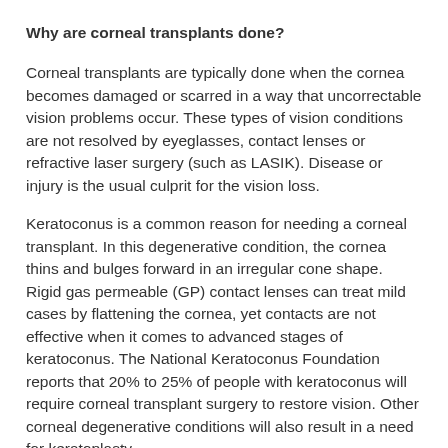Why are corneal transplants done?
Corneal transplants are typically done when the cornea becomes damaged or scarred in a way that uncorrectable vision problems occur. These types of vision conditions are not resolved by eyeglasses, contact lenses or refractive laser surgery (such as LASIK). Disease or injury is the usual culprit for the vision loss.
Keratoconus is a common reason for needing a corneal transplant. In this degenerative condition, the cornea thins and bulges forward in an irregular cone shape. Rigid gas permeable (GP) contact lenses can treat mild cases by flattening the cornea, yet contacts are not effective when it comes to advanced stages of keratoconus. The National Keratoconus Foundation reports that 20% to 25% of people with keratoconus will require corneal transplant surgery to restore vision. Other corneal degenerative conditions will also result in a need for keratoplasty.
Corneal ectasia is a thinning and bulging of the cornea that sometimes occurs after LASIK or other refractive vision correction procedures. In the event that this happens, a corneal transplant